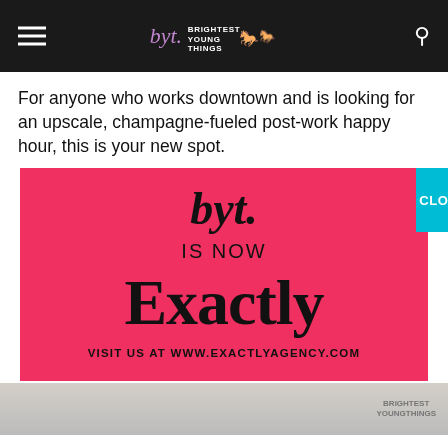byt. BRIGHTEST YOUNG THINGS
For anyone who works downtown and is looking for an upscale, champagne-fueled post-work happy hour, this is your new spot.
[Figure (advertisement): Red advertisement box with 'byt.' script logo, text 'IS NOW Exactly', and 'VISIT US AT WWW.EXACTLYAGENCY.COM'. A teal CLOSE button appears at top right.]
[Figure (photo): Partial photo of a restaurant table setting at the bottom of the page, with a BYT watermark visible at bottom right.]